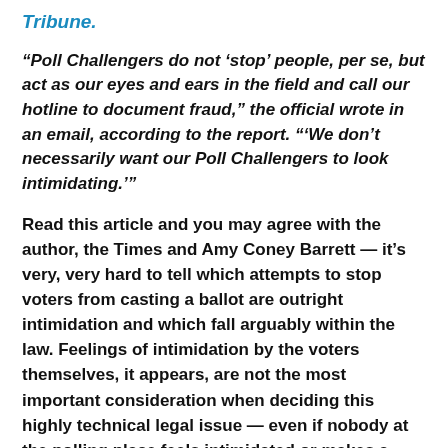Tribune.
“Poll Challengers do not ‘stop’ people, per se, but act as our eyes and ears in the field and call our hotline to document fraud,” the official wrote in an email, according to the report. “‘We don’t necessarily want our Poll Challengers to look intimidating.’”
Read this article and you may agree with the author, the Times and Amy Coney Barrett — it’s very, very hard to tell which attempts to stop voters from casting a ballot are outright intimidation and which fall arguably within the law. Feelings of intimidation by the voters themselves, it appears, are not the most important consideration when deciding this highly technical legal issue — even if nobody at the polling place feels intimidated or makes a complaint — there